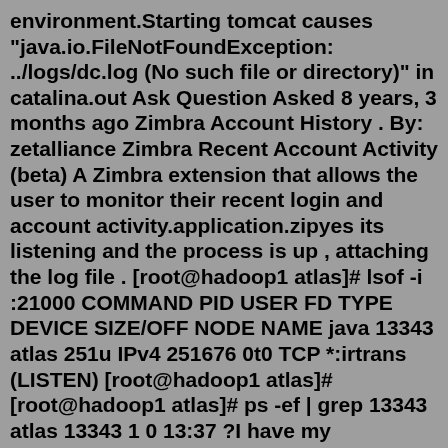environment.Starting tomcat causes "java.io.FileNotFoundException: ../logs/dc.log (No such file or directory)" in catalina.out Ask Question Asked 8 years, 3 months ago Zimbra Account History . By: zetalliance Zimbra Recent Account Activity (beta) A Zimbra extension that allows the user to monitor their recent login and account activity.application.zipyes its listening and the process is up , attaching the log file . [root@hadoop1 atlas]# lsof -i :21000 COMMAND PID USER FD TYPE DEVICE SIZE/OFF NODE NAME java 13343 atlas 251u IPv4 251676 0t0 TCP *:irtrans (LISTEN) [root@hadoop1 atlas]# [root@hadoop1 atlas]# ps -ef | grep 13343 atlas 13343 1 0 13:37 ?I have my application specific properties file(xx.Config.properties). I deployed my apln into weblogic 11g in managed server.The deployment is successfull. But when i try to access the apln, it is giving the exceptionÂ " java.io.FileNotFoundException: xx.Config.properties (No such file or directory)" The reason i am bringing it is